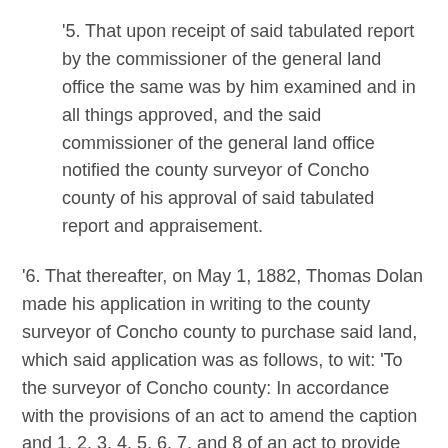'5. That upon receipt of said tabulated report by the commissioner of the general land office the same was by him examined and in all things approved, and the said commissioner of the general land office notified the county surveyor of Concho county of his approval of said tabulated report and appraisement.
'6. That thereafter, on May 1, 1882, Thomas Dolan made his application in writing to the county surveyor of Concho county to purchase said land, which said application was as follows, to wit: 'To the surveyor of Concho county: In accordance with the provisions of an act to amend the caption and 1, 2, 3, 4, 5, 6, 7, and 8 of an act to provide for the sale of alternate sections of land in organized counties, as surveyed by railroad companies and other works of internal improvements and set apart for the benefit of the common school fund, to provide for the investment of the proceeds and to repeal all laws in